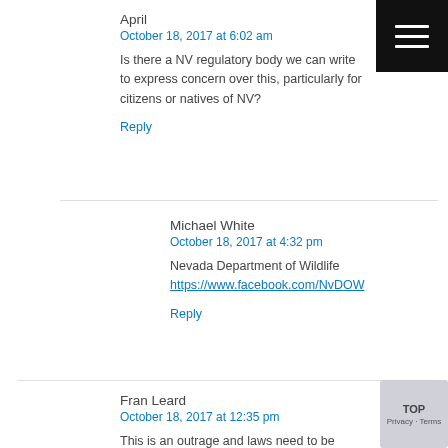April
October 18, 2017 at 6:02 am
Is there a NV regulatory body we can write to express concern over this, particularly for citizens or natives of NV?
Reply
Michael White
October 18, 2017 at 4:32 pm
Nevada Department of Wildlife
https://www.facebook.com/NvDOW
Reply
Fran Leard
October 18, 2017 at 12:35 pm
This is an outrage and laws need to be implemented